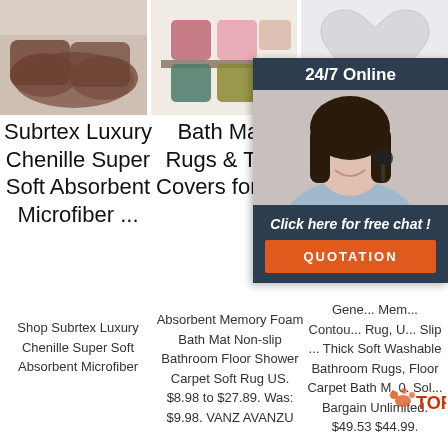[Figure (photo): Product image of brown UGG-style boots worn on legs with white background]
[Figure (photo): Colorful fluffy throw pillows (pink, teal, olive green) arranged on a shelf]
[Figure (photo): White fluffy heart-shaped pillow on light background]
Subrtex Luxury Chenille Super Soft Absorbent Microfiber ...
Bath Mats, Rugs & Toilet Covers for sale
Bat... F...
Shop Subrtex Luxury Chenille Super Soft Absorbent Microfiber
Absorbent Memory Foam Bath Mat Non-slip Bathroom Floor Shower Carpet Soft Rug US. $8.98 to $27.89. Was: $9.98. VANZ AVANZU
Gene... Mem... Contou... Rug, U... Slip ... Thick Soft Washable Bathroom Rugs, Floor Carpet Bath M. 0. Sol... Bargain Unlimited. $49.53 $44.99.
[Figure (photo): Chat widget with woman wearing headset, 24/7 Online header, click here for free chat text, and QUOTATION button]